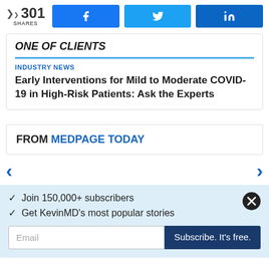< 301 SHARES
ONE OF CLIENTS
INDUSTRY NEWS
Early Interventions for Mild to Moderate COVID-19 in High-Risk Patients: Ask the Experts
FROM MEDPAGE TODAY
✓ Join 150,000+ subscribers
✓ Get KevinMD's most popular stories
Email
Subscribe. It's free.